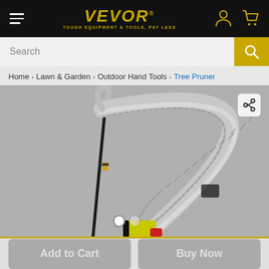[Figure (screenshot): VEVOR website header with hamburger menu, VEVOR logo in gold italic text with tagline 'TOUGH EQUIPMENT & TOOLS, PAY LESS', user account icon and shopping cart icon on black background]
Search
Home > Lawn & Garden > Outdoor Hand Tools > Tree Pruner
[Figure (photo): Product photo of a VEVOR tree pruner / pole saw with a large curved serrated blade, yellow and black handle, and a circular inset showing the pruner cutting a tree branch. The main image is on a gray background.]
Add to Cart
Buy Now